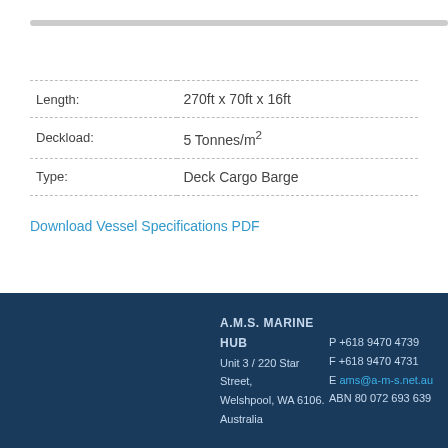| Property | Value |
| --- | --- |
| Length: | 270ft x 70ft x 16ft |
| Deckload: | 5 Tonnes/m² |
| Type: | Deck Cargo Barge |
Download Vessel Specifications PDF
« Back
A.M.S. MARINE HUB Unit 3 / 220 Star Street, Welshpool, WA 6106. Australia P +618 9470 4739 F +618 9470 4731 E ams@a-m-s.net.au ABN 80 072 693 639